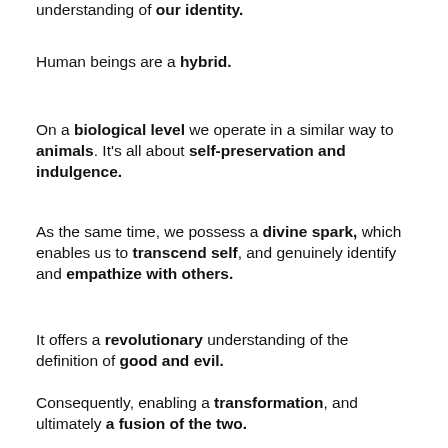understanding of our identity.
Human beings are a hybrid.
On a biological level we operate in a similar way to animals. It's all about self-preservation and indulgence.
As the same time, we possess a divine spark, which enables us to transcend self, and genuinely identify and empathize with others.
It offers a revolutionary understanding of the definition of good and evil.
Consequently, enabling a transformation, and ultimately a fusion of the two.